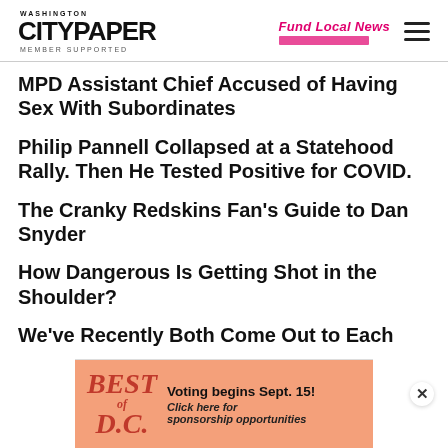Washington City Paper — MEMBER SUPPORTED | Fund Local News
MPD Assistant Chief Accused of Having Sex With Subordinates
Philip Pannell Collapsed at a Statehood Rally. Then He Tested Positive for COVID.
The Cranky Redskins Fan's Guide to Dan Snyder
How Dangerous Is Getting Shot in the Shoulder?
We've Recently Both Come Out to Each
[Figure (screenshot): Advertisement banner for Best of D.C. — Voting begins Sept. 15! Click here for sponsorship opportunities]